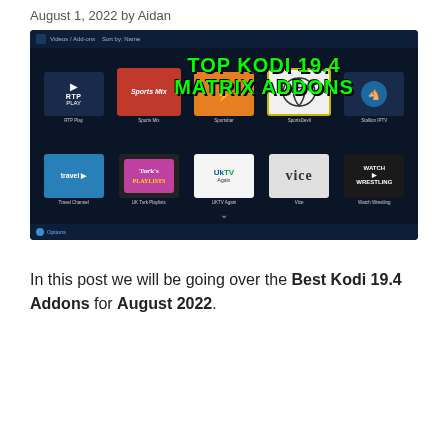August 1, 2022 by Aidan
[Figure (screenshot): Screenshot of Kodi 19.4 Matrix video add-ons page showing multiple add-on thumbnails including RTP Play, Sports Mix, Sportsfbar, SportsDevil, Stallion IPTV, Travel Channel, UK Turk Playlists, UKTV Again, Vice, Watch Wrestling. Overlaid text reads 'TOP KODI 19.4 MATRIX ADDONS' in large green bold font.]
In this post we will be going over the Best Kodi 19.4 Addons for August 2022.